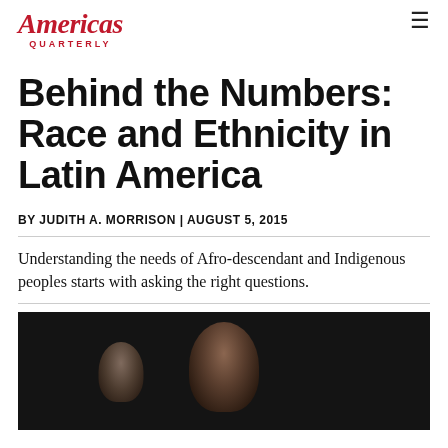Americas Quarterly
Behind the Numbers: Race and Ethnicity in Latin America
BY JUDITH A. MORRISON | AUGUST 5, 2015
Understanding the needs of Afro-descendant and Indigenous peoples starts with asking the right questions.
[Figure (photo): Photo of people, including a woman in a red head wrap, in an urban setting at night]